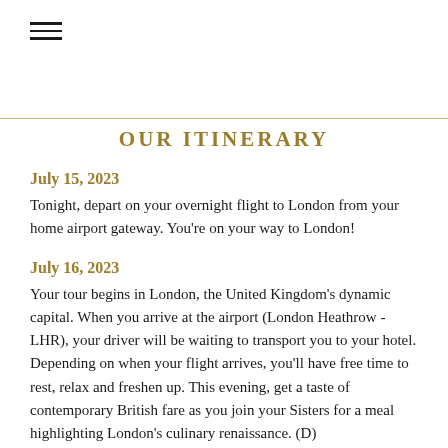≡
OUR ITINERARY
July 15, 2023
Tonight, depart on your overnight flight to London from your home airport gateway. You're on your way to London!
July 16, 2023
Your tour begins in London, the United Kingdom's dynamic capital. When you arrive at the airport (London Heathrow - LHR), your driver will be waiting to transport you to your hotel. Depending on when your flight arrives, you'll have free time to rest, relax and freshen up. This evening, get a taste of contemporary British fare as you join your Sisters for a meal highlighting London's culinary renaissance. (D)
Hotel: Leonardo Royal Hotel London City
July 17, 2023
This morning, after breakfast, we'll join a local expert for a